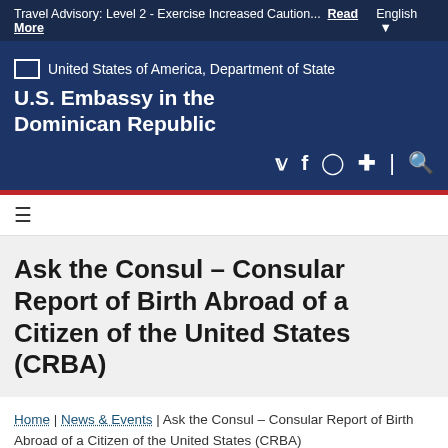Travel Advisory: Level 2 - Exercise Increased Caution... Read More | English ▼
[Figure (logo): United States of America, Department of State logo with U.S. Embassy in the Dominican Republic text]
U.S. Embassy in the Dominican Republic
Ask the Consul – Consular Report of Birth Abroad of a Citizen of the United States (CRBA)
Home | News & Events | Ask the Consul – Consular Report of Birth Abroad of a Citizen of the United States (CRBA)